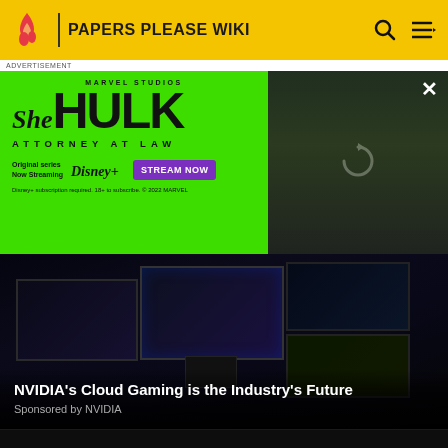PAPERS PLEASE WIKI
[Figure (screenshot): She-Hulk Attorney at Law Disney+ advertisement banner on green background with actress photo]
ADVERTISEMENT
[Figure (screenshot): NVIDIA Cloud Gaming article preview image showing multiple gaming monitors with dark background]
NVIDIA's Cloud Gaming is the Industry's Future
Sponsored by NVIDIA